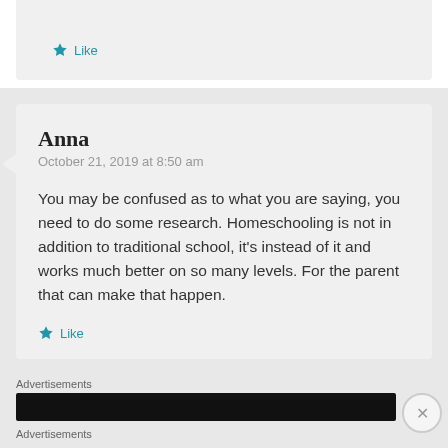Like
Anna
October 21, 2019 at 8:50 am
You may be confused as to what you are saying, you need to do some research. Homeschooling is not in addition to traditional school, it's instead of it and works much better on so many levels. For the parent that can make that happen.
Like
Advertisements
Advertisements